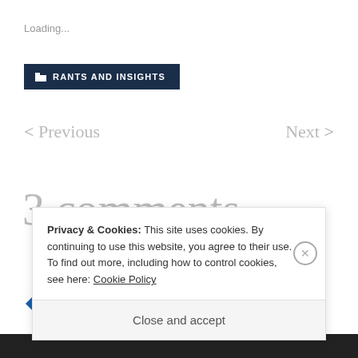Loading...
RANTS AND INSIGHTS
< Previous    Next >
3 comments
Privacy & Cookies: This site uses cookies. By continuing to use this website, you agree to their use.
To find out more, including how to control cookies, see here: Cookie Policy
Close and accept